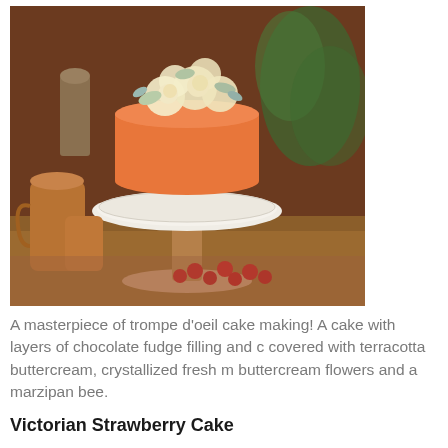[Figure (photo): A decorative cake designed to look like a terracotta flower pot, covered in orange/terracotta buttercream and topped with cream-colored buttercream flowers and marzipan decorations, displayed on a white pedestal cake stand on a wooden surface, with copper/bronze decorative items and red berries nearby.]
A masterpiece of trompe d'oeil cake making! A cake with layers of chocolate fudge filling and covered with terracotta buttercream, crystallized fresh mint, buttercream flowers and a marzipan bee.
Victorian Strawberry Cake